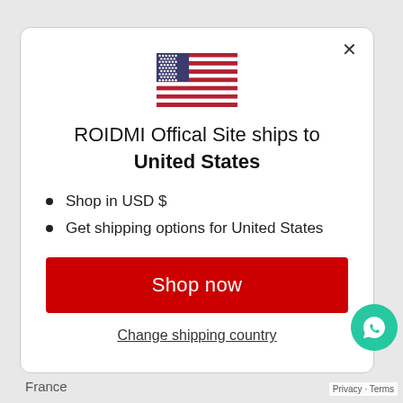[Figure (illustration): US flag emoji/icon centered at top of modal]
ROIDMI Offical Site ships to United States
Shop in USD $
Get shipping options for United States
Shop now
Change shipping country
France